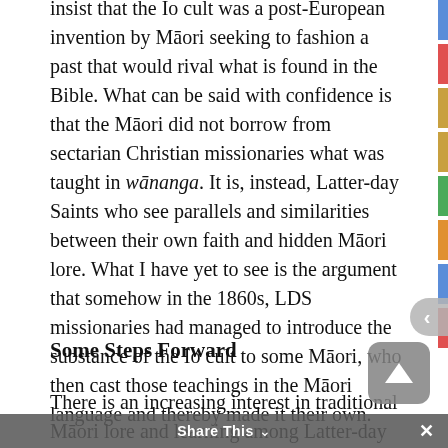insist that the Io cult was a post-European invention by Māori seeking to fashion a past that would rival what is found in the Bible. What can be said with confidence is that the Māori did not borrow from sectarian Christian missionaries what was taught in wānanga. It is, instead, Latter-day Saints who see parallels and similarities between their own faith and hidden Māori lore. What I have yet to see is the argument that somehow in the 1860s, LDS missionaries had managed to introduce the substance of the Io cult to some Māori, who then cast those teachings in the Māori language and thereby made it their own.
Some Steps Forward
There is an increasing interest in traditional Māori lore and learning among Latter-day Saints which I see as